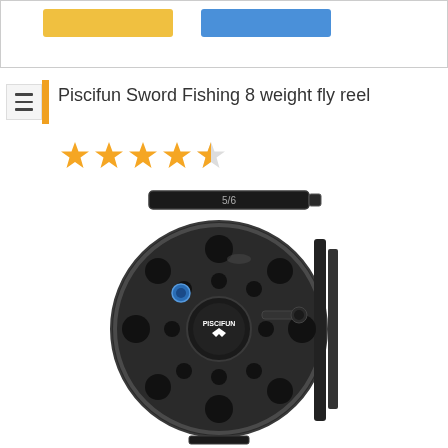[Figure (screenshot): Top portion of Amazon-style product page showing two buttons (yellow and blue) in a bordered container]
Piscifun Sword Fishing 8 weight fly reel
[Figure (other): 4.5 star rating displayed as gold stars]
[Figure (photo): Piscifun Sword fly fishing reel in black/gunmetal finish, labeled 5/6 weight, with open arbor design and Piscifun logo on center cap]